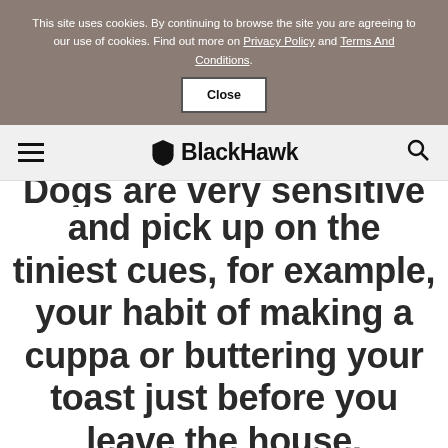This site uses cookies. By continuing to browse the site you are agreeing to our use of cookies. Find out more on Privacy Policy and Terms And Conditions. Close
BlackHawk
Dogs are very sensitive and pick up on the tiniest cues, for example, your habit of making a cuppa or buttering your toast just before you leave the house.